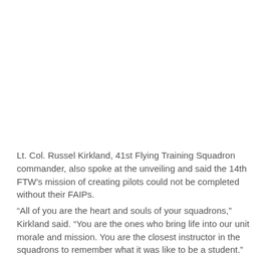Lt. Col. Russel Kirkland, 41st Flying Training Squadron commander, also spoke at the unveiling and said the 14th FTW's mission of creating pilots could not be completed without their FAIPs.
“All of you are the heart and souls of your squadrons,” Kirkland said. “You are the ones who bring life into our unit morale and mission. You are the closest instructor in the squadrons to remember what it was like to be a student.”